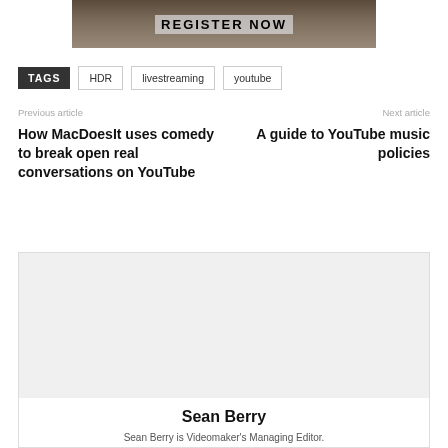[Figure (photo): Partial image showing two people walking, with a 'REGISTER NOW' text overlay on a dark background]
TAGS  HDR  livestreaming  youtube
Previous article
How MacDoesIt uses comedy to break open real conversations on YouTube
Next article
A guide to YouTube music policies
Sean Berry
Sean Berry is Videomaker's Managing Editor.